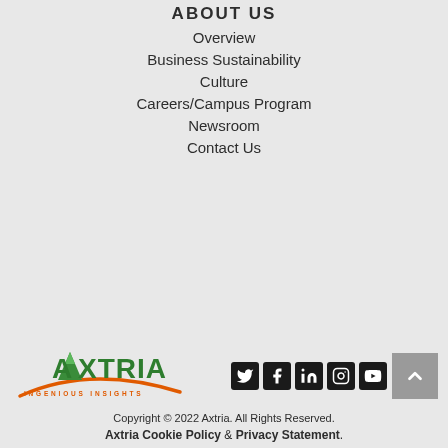ABOUT US
Overview
Business Sustainability
Culture
Careers/Campus Program
Newsroom
Contact Us
[Figure (logo): Axtria Ingenious Insights logo with green mountain/letter A mark and orange swoosh, followed by social media icons for Twitter, Facebook, LinkedIn, Instagram, YouTube, and a scroll-to-top button]
Copyright © 2022 Axtria. All Rights Reserved.
Axtria Cookie Policy & Privacy Statement.